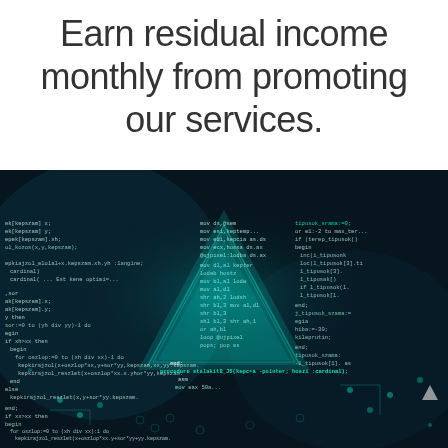Earn residual income monthly from promoting our services.
[Figure (photo): Dark tech/hacker themed image showing code and assembly language text overlaid on a dark background with a cyan/teal colored triangular light shape, circuit board patterns, and binary code. The image depicts programming code including Pascal/Assembly-like code snippets rendered in white and cyan text on a dark background.]